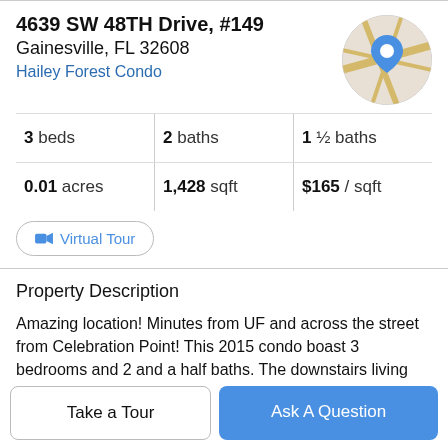4639 SW 48TH Drive, #149
Gainesville, FL 32608
Hailey Forest Condo
[Figure (map): Circular map thumbnail showing street map with a blue location pin marker]
3 beds | 2 baths | 1 ½ baths
0.01 acres | 1,428 sqft | $165 / sqft
Virtual Tour
Property Description
Amazing location! Minutes from UF and across the street from Celebration Point! This 2015 condo boast 3 bedrooms and 2 and a half baths. The downstairs living area has beautiful hardwood floors and the fully amenit-
Take a Tour
Ask A Question